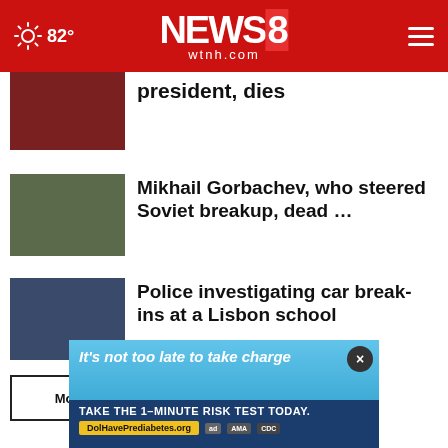NEWS 8 wtnh.com — 82°
...president, dies
Mikhail Gorbachev, who steered Soviet breakup, dead …
Police investigating car break-ins at a Lisbon school
More Stories ›
[Figure (screenshot): Advertisement: It's not too late to take charge — TAKE THE 1-MINUTE RISK TEST TODAY. DolHavePrediabetes.org]